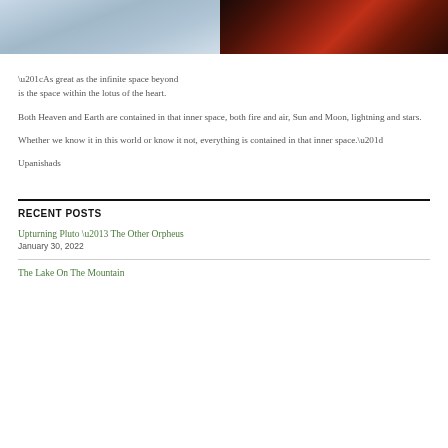[Figure (photo): Two images side by side at top: left image shows a painterly blue-grey sky/landscape, right image shows a dark dramatic painting with red tones featuring a figure]
“As great as the infinite space beyond is the space within the lotus of the heart.

Both Heaven and Earth are contained in that inner space, both fire and air, Sun and Moon, lightning and stars.

Whether we know it in this world or know it not, everything is contained in that inner space.”

Upanishads
RECENT POSTS
Upturning Pluto – The Other Orpheus
January 30, 2022
The Lake On The Mountain